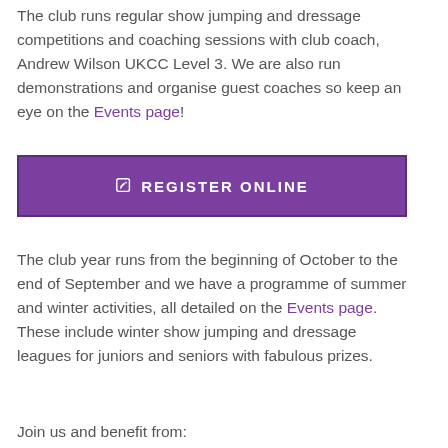The club runs regular show jumping and dressage competitions and coaching sessions with club coach, Andrew Wilson UKCC Level 3. We are also run demonstrations and organise guest coaches so keep an eye on the Events page!
[Figure (other): Purple button with pencil/edit icon and text REGISTER ONLINE]
The club year runs from the beginning of October to the end of September and we have a programme of summer and winter activities, all detailed on the Events page. These include winter show jumping and dressage leagues for juniors and seniors with fabulous prizes.
Join us and benefit from: